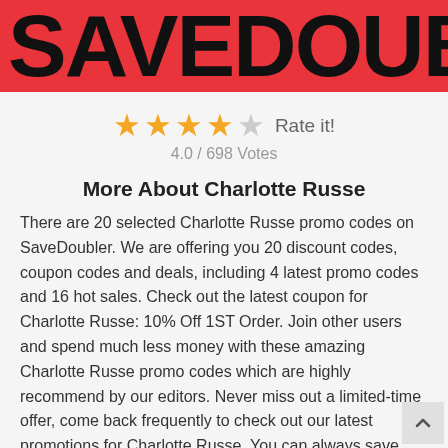SAVEDOUB
[Figure (other): Star rating: 4 filled stars and 1 empty star, with 'Rate it!' label. 4.0 / 698 Votes]
More About Charlotte Russe
There are 20 selected Charlotte Russe promo codes on SaveDoubler. We are offering you 20 discount codes, coupon codes and deals, including 4 latest promo codes and 16 hot sales. Check out the latest coupon for Charlotte Russe: 10% Off 1ST Order. Join other users and spend much less money with these amazing Charlotte Russe promo codes which are highly recommend by our editors. Never miss out a limited-time offer, come back frequently to check out our latest promotions for Charlotte Russe. You can always save another penny if you check out with our tested and verified Charlotte Russe coupon codes. Start to save much more on your purchase now.